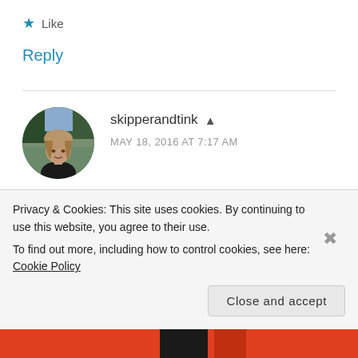★ Like
Reply
[Figure (photo): Circular avatar photo of user skipperandtink - a woman with blonde/brown hair outdoors]
skipperandtink ▲
MAY 18, 2016 AT 7:17 AM
Hi Eleanor, I think you'd have a chance of being picked
Privacy & Cookies: This site uses cookies. By continuing to use this website, you agree to their use.
To find out more, including how to control cookies, see here: Cookie Policy
Close and accept